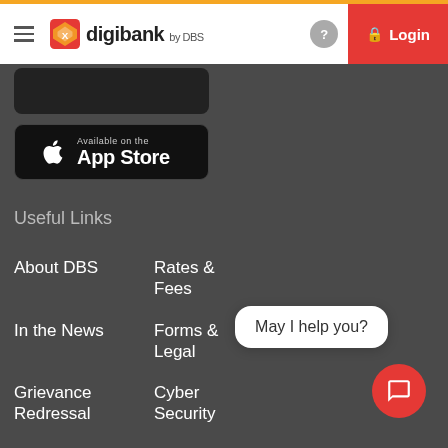[Figure (screenshot): digibank by DBS navigation bar with hamburger menu, logo, help icon and red Login button]
[Figure (screenshot): App Store download button with Apple logo, 'Available on the' text and 'App Store' in white on black]
Useful Links
About DBS
Rates & Fees
In the News
Forms & Legal
Grievance Redressal
Cyber Security
DBS Deposit Policy
Schedule of Benefits
Sitemap
Markets
[Figure (screenshot): Chat widget with 'May I help you?' speech bubble and red circular chat button]